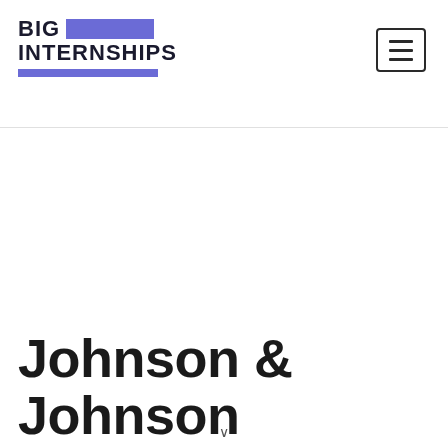BIG INTERNSHIPS
Johnson & Johnson Statistics Summer